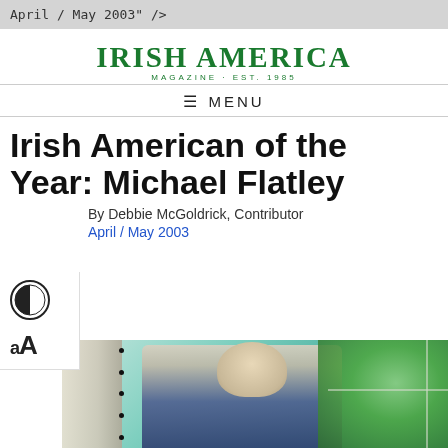April / May 2003" />
[Figure (logo): Irish America Magazine logo — MAGAZINE · EST. 1985]
≡  MENU
Irish American of the Year: Michael Flatley
By Debbie McGoldrick, Contributor
April / May 2003
[Figure (photo): Portrait photo of Michael Flatley, a man in a dark suit and blue tie, with short blonde hair, photographed in front of a window with green foliage visible outside.]